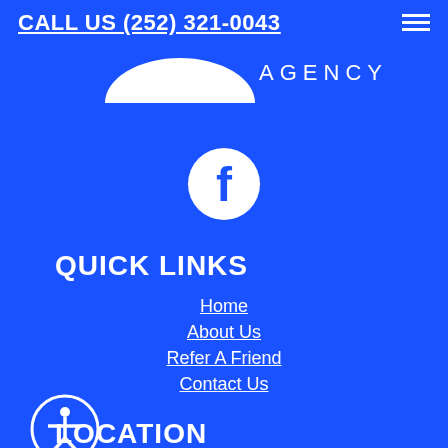CALL US (252) 321-0043
[Figure (logo): White half-circle shape (partial logo) and AGENCY text in white on blue background]
[Figure (logo): Facebook logo - white F in a white circle on blue background]
QUICK LINKS
Home
About Us
Refer A Friend
Contact Us
LOCATION
1021 Red Banks Road Greenville, NC 27858
[Figure (illustration): Accessibility icon - person in circle, white on blue outline circle]
CONTACT
Phone: (252) 321-0043